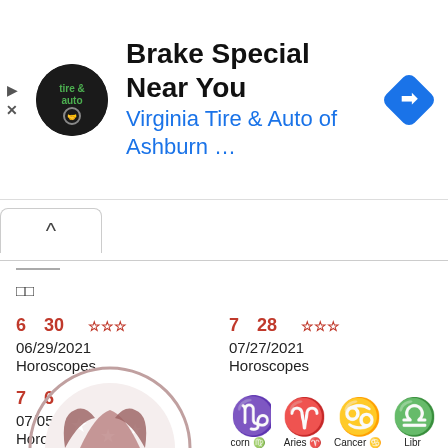[Figure (screenshot): Ad banner for Virginia Tire & Auto of Ashburn with logo, title 'Brake Special Near You', subtitle 'Virginia Tire & Auto of Ashburn ...' and a blue navigation diamond icon]
^ (chevron/collapse tab)
□□
6 30  ☆☆☆  06/29/2021  Horoscopes
7 28  ☆☆☆  07/27/2021  Horoscopes
7 6  ☆☆  07/05/2021  Horoscopes
□□□□□□□□
[Figure (illustration): Circular horoscope logo with zodiac feet/stars in dark red/maroon at bottom left, and blue zodiac sign icons (Capricorn, Aries, Cancer, Libra) at bottom right with labels]